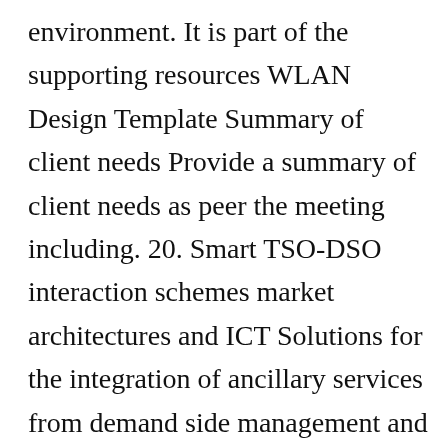environment. It is part of the supporting resources WLAN Design Template Summary of client needs Provide a summary of client needs as peer the meeting including. 20. Smart TSO-DSO interaction schemes market architectures and ICT Solutions for the integration of ancillary services from demand side management and distributed generation ICT Architecture Design Specification D32 Authors. Use site design software and hardware.